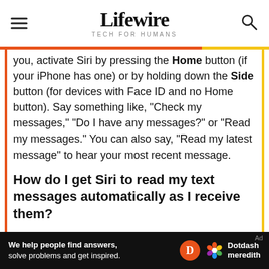Lifewire TECH FOR HUMANS
you, activate Siri by pressing the Home button (if your iPhone has one) or by holding down the Side button (for devices with Face ID and no Home button). Say something like, "Check my messages," "Do I have any messages?" or "Read my messages." You can also say, "Read my latest message" to hear your most recent message.
How do I get Siri to read my text messages automatically as I receive them?
To have Siri read your text messages
[Figure (other): Dotdash Meredith advertisement banner: 'We help people find answers, solve problems and get inspired.' with Dotdash Meredith logo]